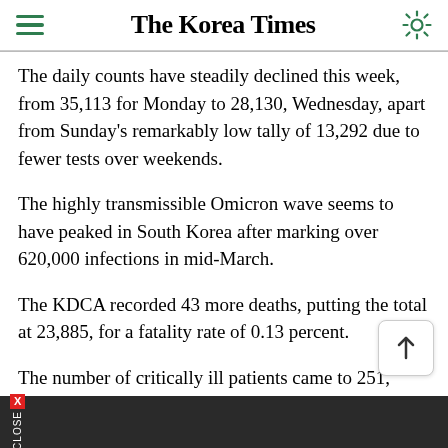The Korea Times
The daily counts have steadily declined this week, from 35,113 for Monday to 28,130, Wednesday, apart from Sunday's remarkably low tally of 13,292 due to fewer tests over weekends.
The highly transmissible Omicron wave seems to have peaked in South Korea after marking over 620,000 infections in mid-March.
The KDCA recorded 43 more deaths, putting the total at 23,885, for a fatality rate of 0.13 percent.
The number of critically ill patients came to 251, down from the previous day's 274.